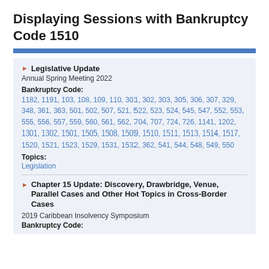Displaying Sessions with Bankruptcy Code 1510
Legislative Update
Annual Spring Meeting 2022
Bankruptcy Code: 1182, 1191, 103, 108, 109, 110, 301, 302, 303, 305, 306, 307, 329, 348, 361, 363, 501, 502, 507, 521, 522, 523, 524, 545, 547, 552, 553, 555, 556, 557, 559, 560, 561, 562, 704, 707, 724, 726, 1141, 1202, 1301, 1302, 1501, 1505, 1508, 1509, 1510, 1511, 1513, 1514, 1517, 1520, 1521, 1523, 1529, 1531, 1532, 362, 541, 544, 548, 549, 550
Topics: Legislation
Chapter 15 Update: Discovery, Drawbridge, Venue, Parallel Cases and Other Hot Topics in Cross-Border Cases
2019 Caribbean Insolvency Symposium
Bankruptcy Code: